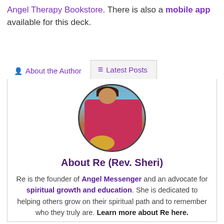Angel Therapy Bookstore. There is also a mobile app available for this deck.
About the Author | Latest Posts
[Figure (photo): Oval portrait photo of Re (Rev. Sheri), a woman in a pink/red top leaning over what appears to be a drum or bowl.]
About Re (Rev. Sheri)
Re is the founder of Angel Messenger and an advocate for spiritual growth and education. She is dedicated to helping others grow on their spiritual path and to remember who they truly are. Learn more about Re here.